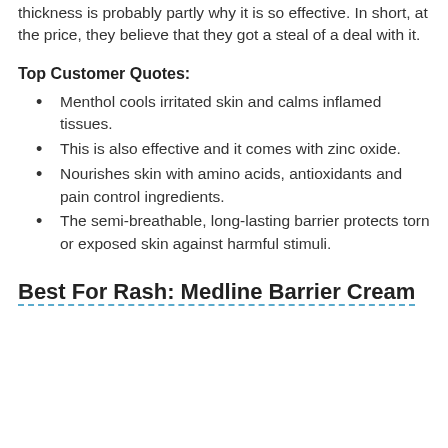thickness is probably partly why it is so effective. In short, at the price, they believe that they got a steal of a deal with it.
Top Customer Quotes:
Menthol cools irritated skin and calms inflamed tissues.
This is also effective and it comes with zinc oxide.
Nourishes skin with amino acids, antioxidants and pain control ingredients.
The semi-breathable, long-lasting barrier protects torn or exposed skin against harmful stimuli.
Best For Rash: Medline Barrier Cream